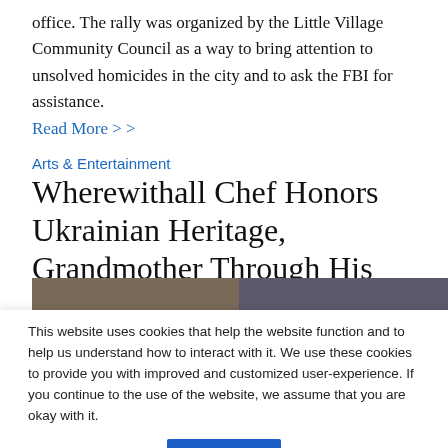office. The rally was organized by the Little Village Community Council as a way to bring attention to unsolved homicides in the city and to ask the FBI for assistance.
Read More > >
Arts & Entertainment
Wherewithall Chef Honors Ukrainian Heritage, Grandmother Through His Menu
Joanna Hernandez | Mar 8, 2022
[Figure (photo): Two side-by-side photos showing people in a kitchen setting]
This website uses cookies that help the website function and to help us understand how to interact with it. We use these cookies to provide you with improved and customized user-experience. If you continue to the use of the website, we assume that you are okay with it.
Got It